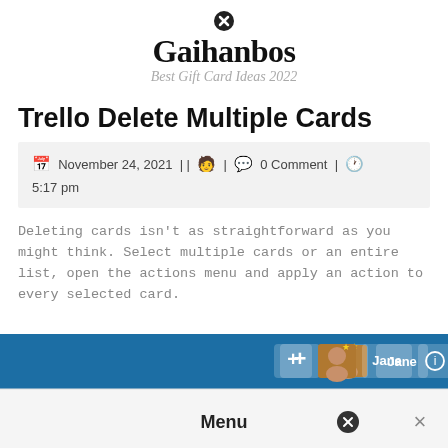Gaihanbos — Best Gift Card Ideas 2022
Trello Delete Multiple Cards
November 24, 2021 || 🧑 | 💬 0 Comment | 🕐 5:17 pm
Deleting cards isn't as straightforward as you might think. Select multiple cards or an entire list, open the actions menu and apply an action to every selected card.
[Figure (screenshot): Trello interface screenshot showing the top navigation bar (blue background) with '+', avatar (Jane), info and bell icon buttons, and a white panel below showing 'Menu' heading with an X close button.]